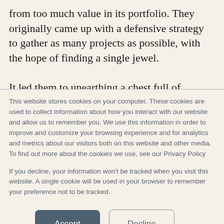from too much value in its portfolio. They originally came up with a defensive strategy to gather as many projects as possible, with the hope of finding a single jewel.
It led them to unearthing a chest full of treasures instead.
This website stores cookies on your computer. These cookies are used to collect information about how you interact with our website and allow us to remember you. We use this information in order to improve and customize your browsing experience and for analytics and metrics about our visitors both on this website and other media. To find out more about the cookies we use, see our Privacy Policy
If you decline, your information won't be tracked when you visit this website. A single cookie will be used in your browser to remember your preference not to be tracked.